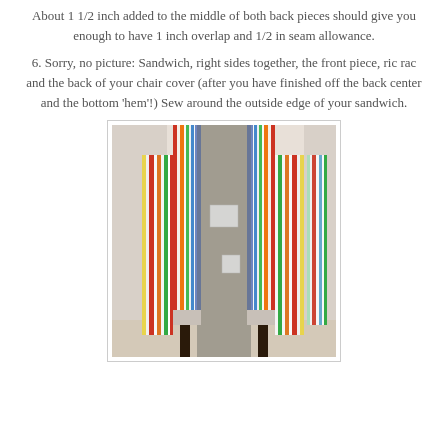About 1 1/2 inch added to the middle of both back pieces should give you enough to have 1 inch overlap and 1/2 in seam allowance.
6. Sorry, no picture: Sandwich, right sides together, the front piece, ric rac and the back of your chair cover (after you have finished off the back center and the bottom 'hem'!) Sew around the outside edge of your sandwich.
[Figure (photo): Photo of a colorful striped chair cover draped over a chair, viewed from behind, showing the back opening with two panels of multicolored vertical stripes (red, orange, green, blue, yellow, white) and a partial white label visible. The chair legs are dark wood.]